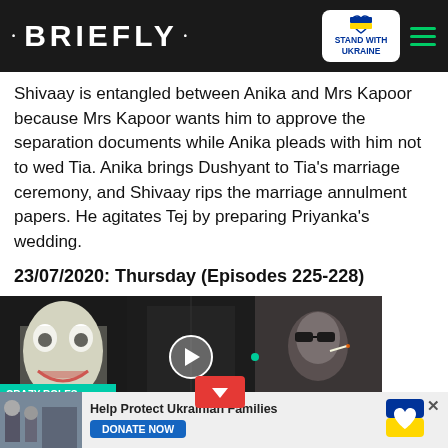• BRIEFLY •
Shivaay is entangled between Anika and Mrs Kapoor because Mrs Kapoor wants him to approve the separation documents while Anika pleads with him not to wed Tia. Anika brings Dushyant to Tia's marriage ceremony, and Shivaay rips the marriage annulment papers. He agitates Tej by preparing Priyanka's wedding.
23/07/2020: Thursday (Episodes 225-228)
ACP Ranveer and his mother, Kamini, visit the Oberois, and ni rejects him. Priyanka's and Shivika unveils Daksh's Daksh coerces Shivaay to Anika is nervous after meeting Kamini from serving fruits to
[Figure (screenshot): Video thumbnail overlay showing three panels: Joker character on left, man in hotel corridor in center with play button, older man with cigarette on right. Label reads 'CRAZY ROLES AND THEIR TOLL'. Red arrow button at bottom center.]
[Figure (infographic): Ad banner at bottom: photo of Ukrainian scene on left, 'Help Protect Ukrainian Families' text, blue DONATE NOW button, Ukraine flag heart logo, X close button.]